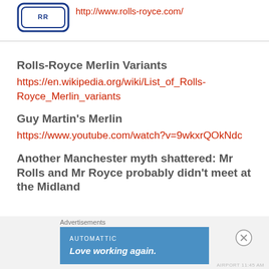[Figure (logo): Rolls-Royce logo, blue outlined badge shape]
http://www.rolls-royce.com/
Rolls-Royce Merlin Variants
https://en.wikipedia.org/wiki/List_of_Rolls-Royce_Merlin_variants
Guy Martin's Merlin
https://www.youtube.com/watch?v=9wkxrQOkNdc
Another Manchester myth shattered: Mr Rolls and Mr Royce probably didn't meet at the Midland
Advertisements
AUTOMATTIC
Love working again.